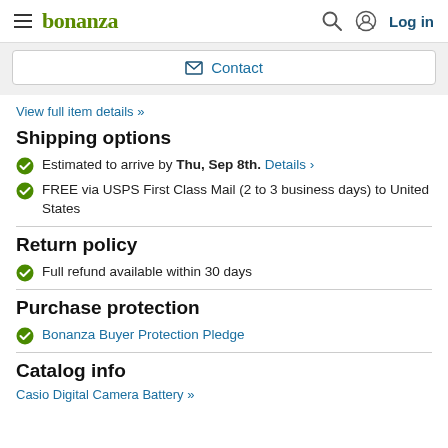bonanza — Log in
Contact
View full item details »
Shipping options
Estimated to arrive by Thu, Sep 8th. Details ›
FREE via USPS First Class Mail (2 to 3 business days) to United States
Return policy
Full refund available within 30 days
Purchase protection
Bonanza Buyer Protection Pledge
Catalog info
Casio Digital Camera Battery »